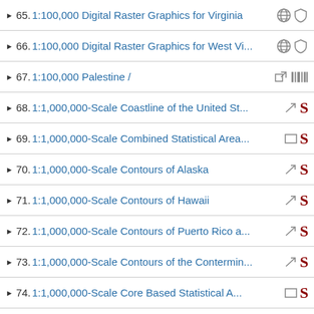65. 1:100,000 Digital Raster Graphics for Virginia
66. 1:100,000 Digital Raster Graphics for West Vi...
67. 1:100,000 Palestine /
68. 1:1,000,000-Scale Coastline of the United St...
69. 1:1,000,000-Scale Combined Statistical Area...
70. 1:1,000,000-Scale Contours of Alaska
71. 1:1,000,000-Scale Contours of Hawaii
72. 1:1,000,000-Scale Contours of Puerto Rico a...
73. 1:1,000,000-Scale Contours of the Contermin...
74. 1:1,000,000-Scale Core Based Statistical A...